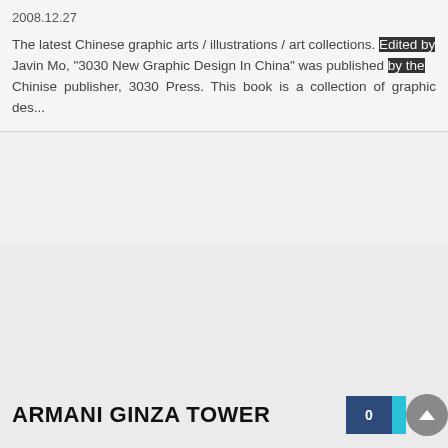2008.12.27
The latest Chinese graphic arts / illustrations / art collections. Edited by Javin Mo, "3030 New Graphic Design In China" was published by the Chinise publisher, 3030 Press. This book is a collection of graphic des...
ARMANI GINZA TOWER